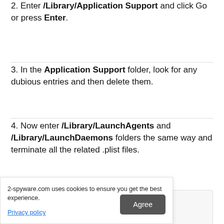2. Enter /Library/Application Support and click Go or press Enter.
3. In the Application Support folder, look for any dubious entries and then delete them.
4. Now enter /Library/LaunchAgents and /Library/LaunchDaemons folders the same way and terminate all the related .plist files.
[Figure (screenshot): White/light gray box area, content area of a webpage screenshot]
2-spyware.com uses cookies to ensure you get the best experience.
Privacy policy
Agree